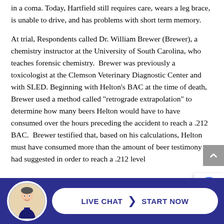in a coma. Today, Hartfield still requires care, wears a leg brace, is unable to drive, and has problems with short term memory.
At trial, Respondents called Dr. William Brewer (Brewer), a chemistry instructor at the University of South Carolina, who teaches forensic chemistry. Brewer was previously a toxicologist at the Clemson Veterinary Diagnostic Center and with SLED. Beginning with Helton's BAC at the time of death, Brewer used a method called "retrograde extrapolation" to determine how many beers Helton would have to have consumed over the hours preceding the accident to reach a .212 BAC. Brewer testified that, based on his calculations, Helton must have consumed more than the amount of beer testimony had suggested in order to reach a .212 level. Brewer also noted that his estimates...